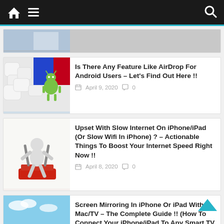Navigation bar with home icon, hamburger menu, and search icon
[Figure (screenshot): Partially visible article card with image at top]
Is There Any Feature Like AirDrop For Android Users – Let's Find Out Here !!
April 9, 2020  0
[Figure (photo): 3D figurine holding WiFi router antennae on red base]
Upset With Slow Internet On iPhone/iPad (Or Slow Wifi In iPhone) ? – Actionable Things To Boost Your Internet Speed Right Now !!
April 8, 2020  0
[Figure (photo): Hand holding smartphone with landscape on screen and sky behind]
Screen Mirroring In iPhone Or iPad With Mac/TV – The Complete Guide !! (How To Connect Your iPhone/iPad To Any Smart TV Or Mac Device ?)
April 4, 2020  0